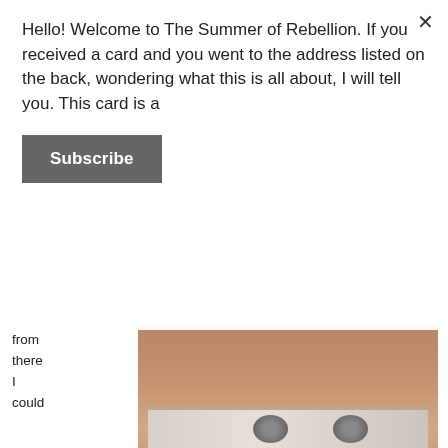Hello! Welcome to The Summer of Rebellion. If you received a card and you went to the address listed on the back, wondering what this is all about, I will tell you. This card is a
Subscribe
[Figure (photo): Photo of a notebook or book with two metal rings/binders, placed on a wooden surface, viewed from the side]
from there I could watch his truck pull out and travel down the frontage road next to the tiny airport in Maine I would travel in and out of, once, maybe twice a year.
His red truck with the driftwood put together around the sides as a kind of fence, was an item I would never forget, even after he moved to Portland and gave it to me, even after I sold it.
He was always leaving, my father, even when I was the one departing. I have carried this with me all of my life. To this day, I am comforted by leaving. The familiarity of the ache in my gut warms me, the longing, the sad departure. This is all soothing to my nerves.